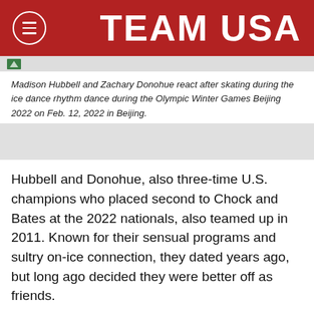TEAM USA
Madison Hubbell and Zachary Donohue react after skating during the ice dance rhythm dance during the Olympic Winter Games Beijing 2022 on Feb. 12, 2022 in Beijing.
Hubbell and Donohue, also three-time U.S. champions who placed second to Chock and Bates at the 2022 nationals, also teamed up in 2011. Known for their sensual programs and sultry on-ice connection, they dated years ago, but long ago decided they were better off as friends.
These days, Donohue is involved with Australian ice dancer Chantelle Kerry. Hubbell is engaged to Adrian Diaz, who competes for Spain. They all train in Montreal,